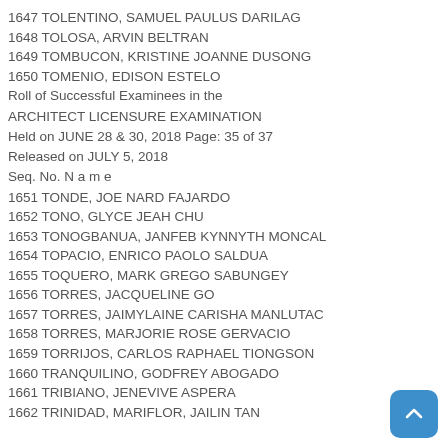1647 TOLENTINO, SAMUEL PAULUS DARILAG
1648 TOLOSA, ARVIN BELTRAN
1649 TOMBUCON, KRISTINE JOANNE DUSONG
1650 TOMENIO, EDISON ESTELO
Roll of Successful Examinees in the ARCHITECT LICENSURE EXAMINATION Held on JUNE 28 & 30, 2018 Page: 35 of 37 Released on JULY 5, 2018
Seq. No. N a m e
1651 TONDE, JOE NARD FAJARDO
1652 TONO, GLYCE JEAH CHU
1653 TONOGBANUA, JANFEB KYNNYTH MONCAL
1654 TOPACIO, ENRICO PAOLO SALDUA
1655 TOQUERO, MARK GREGO SABUNGEY
1656 TORRES, JACQUELINE GO
1657 TORRES, JAIMYLAINE CARISHA MANLUTAC
1658 TORRES, MARJORIE ROSE GERVACIO
1659 TORRIJOS, CARLOS RAPHAEL TIONGSON
1660 TRANQUILINO, GODFREY ABOGADO
1661 TRIBIANO, JENEVIVE ASPERA
1662 TRINIDAD, MARIFLOR, JAILIN TAN